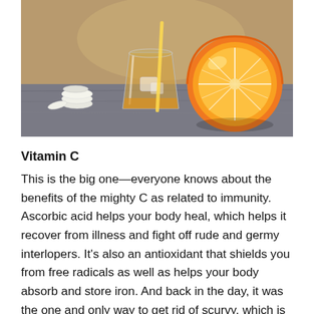[Figure (photo): Photo of vitamin C supplements (white tablets), a glass of orange juice with ice, and a halved orange on a granite countertop]
Vitamin C
This is the big one—everyone knows about the benefits of the mighty C as related to immunity. Ascorbic acid helps your body heal, which helps it recover from illness and fight off rude and germy interlopers. It's also an antioxidant that shields you from free radicals as well as helps your body absorb and store iron. And back in the day, it was the one and only way to get rid of scurvy, which is actually caused by a deficiency in C. Too much can upset your stomach, though, so don't overdo it. There are also a